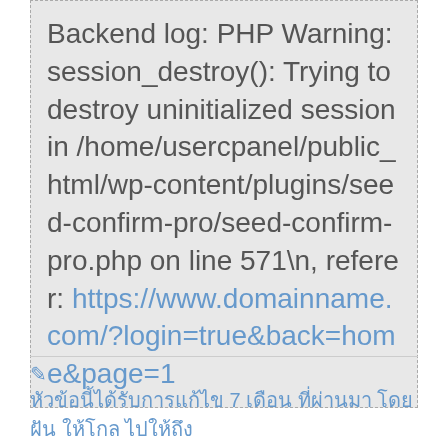Backend log: PHP Warning: session_destroy(): Trying to destroy uninitialized session in /home/usercpanel/public_html/wp-content/plugins/seed-confirm-pro/seed-confirm-pro.php on line 571\n, referer: https://www.domainname.com/?login=true&back=home&page=1
✎ หัวข้อนี้ได้รับการแก้ไข 7 เดือน ที่ผ่านมา โดย ฝัน ให้โกล ไปให้ถึง